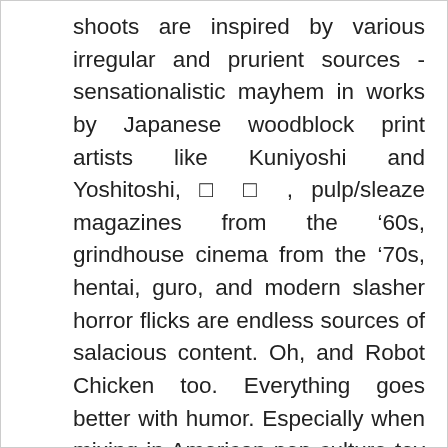shoots are inspired by various irregular and prurient sources - sensationalistic mayhem in works by Japanese woodblock print artists like Kuniyoshi and Yoshitoshi, □ □ , pulp/sleaze magazines from the '60s, grindhouse cinema from the '70s, hentai, guro, and modern slasher horror flicks are endless sources of salacious content. Oh, and Robot Chicken too. Everything goes better with humor. Especially when mixing in American pop culture toy icons with their Japanese PVC counterparts.